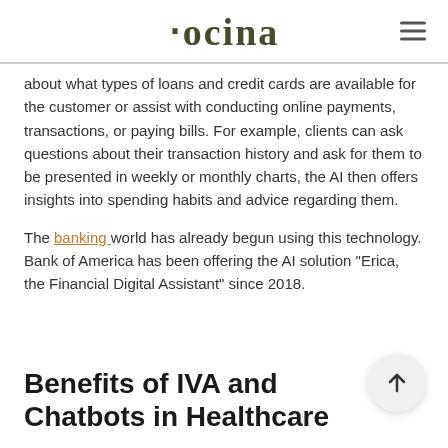oxina
about what types of loans and credit cards are available for the customer or assist with conducting online payments, transactions, or paying bills. For example, clients can ask questions about their transaction history and ask for them to be presented in weekly or monthly charts, the AI then offers insights into spending habits and advice regarding them.
The banking world has already begun using this technology. Bank of America has been offering the AI solution "Erica, the Financial Digital Assistant" since 2018.
Benefits of IVA and Chatbots in Healthcare